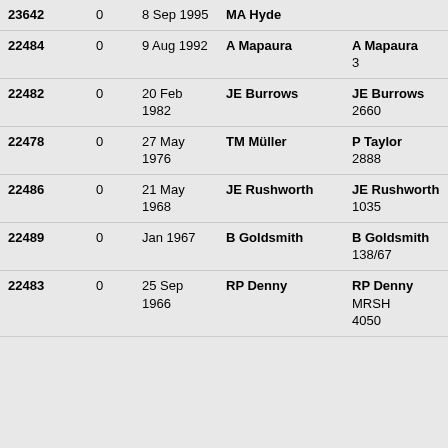| 23642 | 0 | 8 Sep 1995 | MA Hyde |  |
| 22484 | 0 | 9 Aug 1992 | A Mapaura | A Mapaura
3 |
| 22482 | 0 | 20 Feb 1982 | JE Burrows | JE Burrows
2660 |
| 22478 | 0 | 27 May 1976 | TM Müller | P Taylor
2888 |
| 22486 | 0 | 21 May 1968 | JE Rushworth | JE Rushworth
1035 |
| 22489 | 0 | Jan 1967 | B Goldsmith | B Goldsmith
138/67 |
| 22483 | 0 | 25 Sep 1966 | RP Denny | RP Denny
MRSH
4050 |